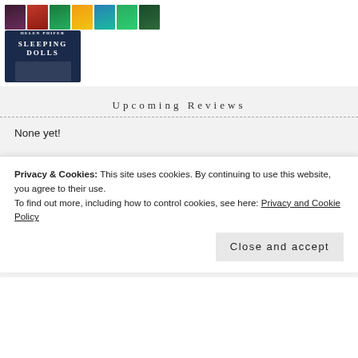[Figure (illustration): Row of book covers at top, and a large book cover titled SLEEPING DOLLS in dark blue with author name Helen Phifer]
Upcoming Reviews
None yet!
Search
Privacy & Cookies: This site uses cookies. By continuing to use this website, you agree to their use.
To find out more, including how to control cookies, see here: Privacy and Cookie Policy
Close and accept